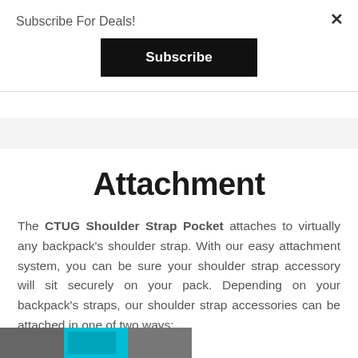Subscribe For Deals!
×
Subscribe
Attachment
The CTUG Shoulder Strap Pocket attaches to virtually any backpack's shoulder strap. With our easy attachment system, you can be sure your shoulder strap accessory will sit securely on your pack. Depending on your backpack's straps, our shoulder strap accessories can be attached in one of two ways:
[Figure (photo): Partial photo of a backpack shoulder strap with a teal/turquoise accessory attached, cropped at bottom of page.]